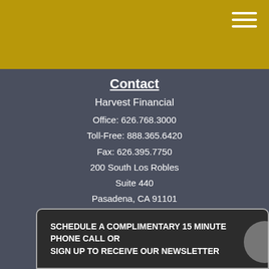Contact
Harvest Financial
Office: 626.768.3000
Toll-Free: 888.365.6420
Fax: 626.395.7750
200 South Los Robles
Suite 440
Pasadena, CA 91101
Series 7, Series 24, Series 66
peter.han@harvestfinancial.com
[Figure (logo): Facebook and LinkedIn social media icon buttons]
Quick Links
Retirement
Investment
SCHEDULE A COMPLIMENTARY 15 MINUTE PHONE CALL OR SIGN UP TO RECEIVE OUR NEWSLETTER